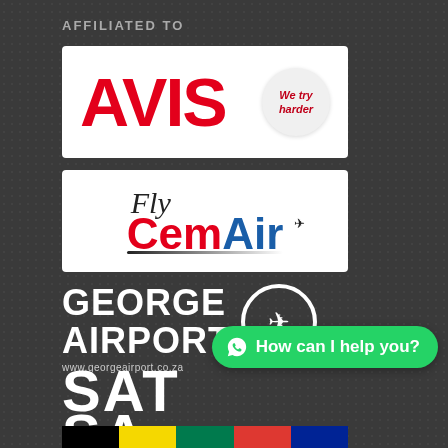AFFILIATED TO
[Figure (logo): AVIS car rental logo — red bold 'AVIS' text with 'We try harder' circular badge, white background]
[Figure (logo): Fly CemAir airline logo — script 'Fly' with 'CemAir' in red and blue bold text, white background]
[Figure (logo): George Airport logo — bold white 'GEORGE AIRPORT' text with airplane circle icon and URL www.georgeairport.co.za, dark background]
[Figure (logo): SATSA logo — bold white 'SATSA' text, 'The Voice of Inbound Tourism' tagline, BONDED MEMBER text, dark background]
[Figure (illustration): South African flag color bar strip at bottom]
How can I help you?